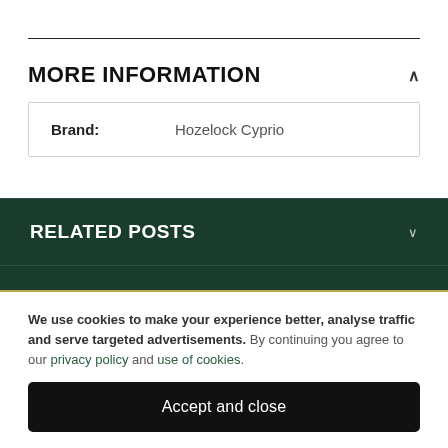MORE INFORMATION
| Brand | Value |
| --- | --- |
| Brand: | Hozelock Cyprio |
RELATED POSTS
MORE PRODUCTS FROM THIS BRAND
PRODUCT REVIEWS
We use cookies to make your experience better, analyse traffic and serve targeted advertisements. By continuing you agree to our privacy policy and use of cookies.
Accept and close